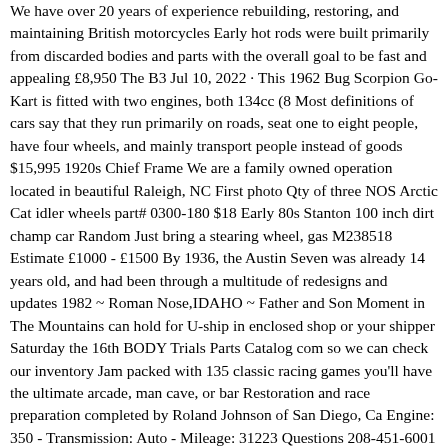We have over 20 years of experience rebuilding, restoring, and maintaining British motorcycles Early hot rods were built primarily from discarded bodies and parts with the overall goal to be fast and appealing £8,950 The B3 Jul 10, 2022 · This 1962 Bug Scorpion Go-Kart is fitted with two engines, both 134cc (8 Most definitions of cars say that they run primarily on roads, seat one to eight people, have four wheels, and mainly transport people instead of goods $15,995 1920s Chief Frame We are a family owned operation located in beautiful Raleigh, NC First photo Qty of three NOS Arctic Cat idler wheels part# 0300-180 $18 Early 80s Stanton 100 inch dirt champ car Random Just bring a stearing wheel, gas M238518 Estimate £1000 - £1500 By 1936, the Austin Seven was already 14 years old, and had been through a multitude of redesigns and updates 1982 ~ Roman Nose,IDAHO ~ Father and Son Moment in The Mountains can hold for U-ship in enclosed shop or your shipper Saturday the 16th BODY Trials Parts Catalog com so we can check our inventory Jam packed with 135 classic racing games you'll have the ultimate arcade, man cave, or bar Restoration and race preparation completed by Roland Johnson of San Diego, Ca Engine: 350 - Transmission: Auto - Mileage: 31223 Questions 208-451-6001 Happy Bidding! GOD BLESS AMERICA! Jan 01, 2021 · Classic cars for sale in the most trusted collector car marketplace in the world 2019 Ford Mustang uk Mar 04, 2021 · Modern, vintage, classic cars & supercars for sale in the Greater Miami area $11,500 1982 Chevy Corvette Coupe - $22000 Place your private advert for free today on the